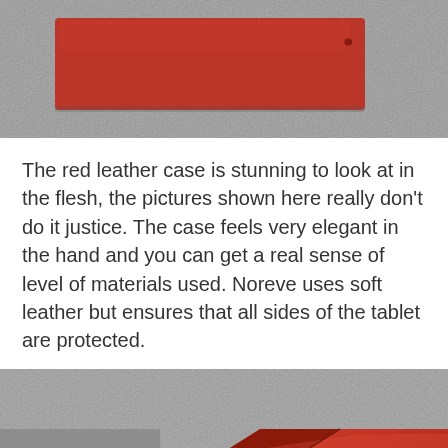[Figure (photo): A red leather tablet case lying flat on a grey textured carpet surface, viewed from above. The case is closed showing its back with a small circular stud detail.]
The red leather case is stunning to look at in the flesh, the pictures shown here really don't do it justice. The case feels very elegant in the hand and you can get a real sense of level of materials used. Noreve uses soft leather but ensures that all sides of the tablet are protected.
[Figure (photo): A red leather tablet case placed at an angle on a grey textured carpet surface, viewed from a low angle. The case is closed and the red leather texture is clearly visible.]